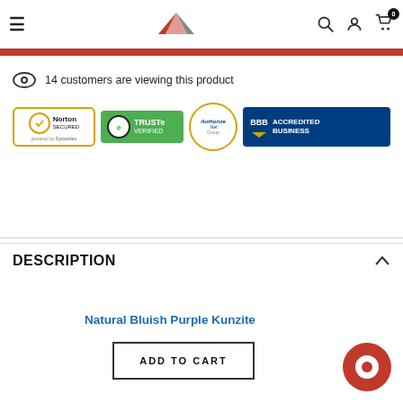≡ [logo] 🔍 👤 🛒 0
14 customers are viewing this product
[Figure (logo): Trust badges: Norton Secured powered by Symantec, TRUSTe Verified, Authorize.Net, BBB Accredited Business]
DESCRIPTION
Natural Bluish Purple Kunzite